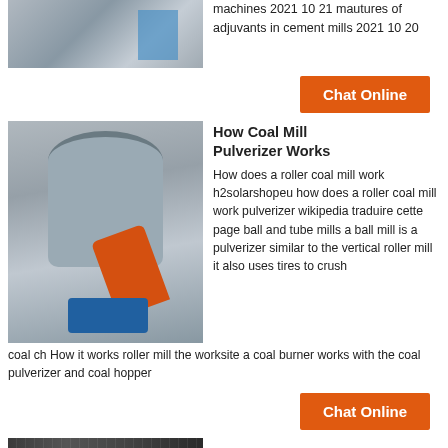[Figure (photo): Exterior of an industrial building with scaffolding and blue equipment]
machines 2021 10 21 mautures of adjuvants in cement mills 2021 10 20
[Figure (other): Orange Chat Online button]
[Figure (photo): Industrial coal mill / pulverizer machine with orange arm and blue base inside a building]
How Coal Mill Pulverizer Works
How does a roller coal mill work h2solarshopeu how does a roller coal mill work pulverizer wikipedia traduire cette page ball and tube mills a ball mill is a pulverizer similar to the vertical roller mill it also uses tires to crush coal ch How it works roller mill the worksite a coal burner works with the coal pulverizer and coal hopper
[Figure (other): Orange Chat Online button]
[Figure (photo): Partial view of another industrial machine or equipment at bottom of page]